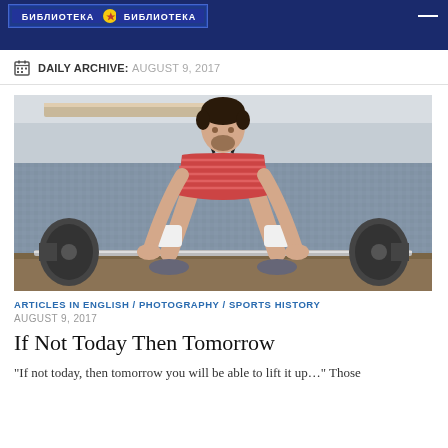DAILY ARCHIVE: AUGUST 9, 2017
[Figure (photo): A male weightlifter in a red striped shirt and knee wraps preparing to deadlift a loaded barbell in a gym setting, black and white/muted color photo.]
ARTICLES IN ENGLISH / PHOTOGRAPHY / SPORTS HISTORY
AUGUST 9, 2017
If Not Today Then Tomorrow
"If not today, then tomorrow you will be able to lift it up…" Those